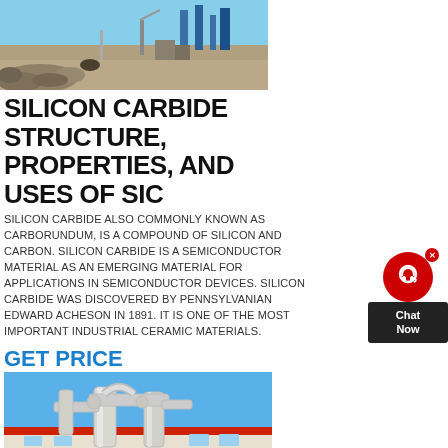[Figure (photo): Outdoor industrial site with machinery, excavated ground, blue structures in background, black gravel/rocks in foreground]
SILICON CARBIDE STRUCTURE, PROPERTIES, AND USES OF SIC
SILICON CARBIDE ALSO COMMONLY KNOWN AS CARBORUNDUM, IS A COMPOUND OF SILICON AND CARBON. SILICON CARBIDE IS A SEMICONDUCTOR MATERIAL AS AN EMERGING MATERIAL FOR APPLICATIONS IN SEMICONDUCTOR DEVICES. SILICON CARBIDE WAS DISCOVERED BY PENNSYLVANIAN EDWARD ACHESON IN 1891. IT IS ONE OF THE MOST IMPORTANT INDUSTRIAL CERAMIC MATERIALS.
GET PRICE
[Figure (photo): Industrial facility with white metal pipe/duct structures against a blue sky, red and white building in background]